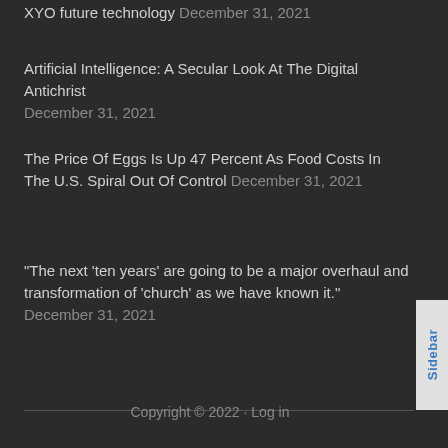XYO future technology December 31, 2021
Artificial Intelligence: A Secular Look At The Digital Antichrist December 31, 2021
The Price Of Eggs Is Up 47 Percent As Food Costs In The U.S. Spiral Out Of Control December 31, 2021
“The next ‘ten years’ are going to be a major overhaul and transformation of ‘church’ as we have known it.” December 31, 2021
Copyright © 2022 · Log in